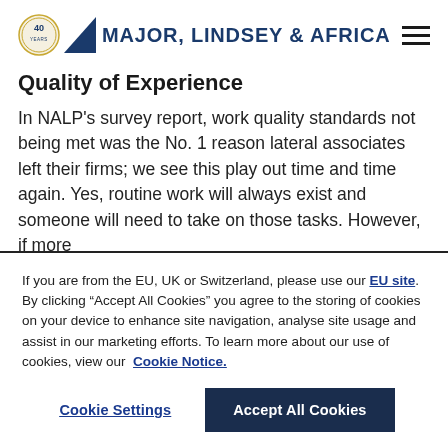Major, Lindsey & Africa
Quality of Experience
In NALP's survey report, work quality standards not being met was the No. 1 reason lateral associates left their firms; we see this play out time and time again. Yes, routine work will always exist and someone will need to take on those tasks. However, if more
If you are from the EU, UK or Switzerland, please use our EU site. By clicking “Accept All Cookies” you agree to the storing of cookies on your device to enhance site navigation, analyse site usage and assist in our marketing efforts. To learn more about our use of cookies, view our Cookie Notice.
Cookie Settings | Accept All Cookies